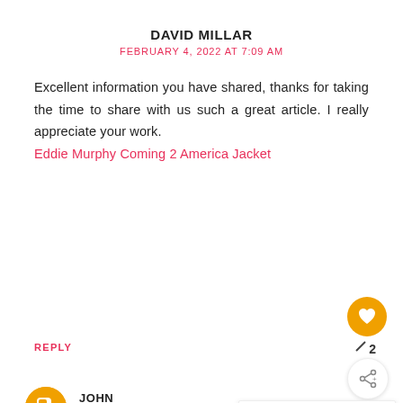DAVID MILLAR
FEBRUARY 4, 2022 AT 7:09 AM
Excellent information you have shared, thanks for taking the time to share with us such a great article. I really appreciate your work. Eddie Murphy Coming 2 America Jacket
REPLY
JOHN
FEBRUARY 8, 2022 AT 7:34 AM
WHAT'S NEXT → Outfit: Tire Swing